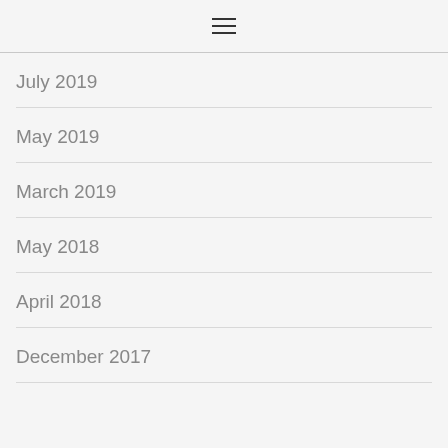≡
July 2019
May 2019
March 2019
May 2018
April 2018
December 2017